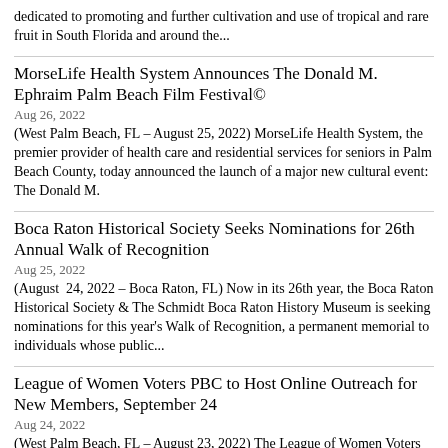dedicated to promoting and further cultivation and use of tropical and rare fruit in South Florida and around the...
MorseLife Health System Announces The Donald M. Ephraim Palm Beach Film Festival©
Aug 26, 2022
(West Palm Beach, FL – August 25, 2022) MorseLife Health System, the premier provider of health care and residential services for seniors in Palm Beach County, today announced the launch of a major new cultural event: The Donald M.
Boca Raton Historical Society Seeks Nominations for 26th Annual Walk of Recognition
Aug 25, 2022
(August 24, 2022 – Boca Raton, FL) Now in its 26th year, the Boca Raton Historical Society & The Schmidt Boca Raton History Museum is seeking nominations for this year's Walk of Recognition, a permanent memorial to individuals whose public...
League of Women Voters PBC to Host Online Outreach for New Members, September 24
Aug 24, 2022
(West Palm Beach, FL – August 23, 2022) The League of Women Voters of Palm Beach County (LWVPBC) today invited potential